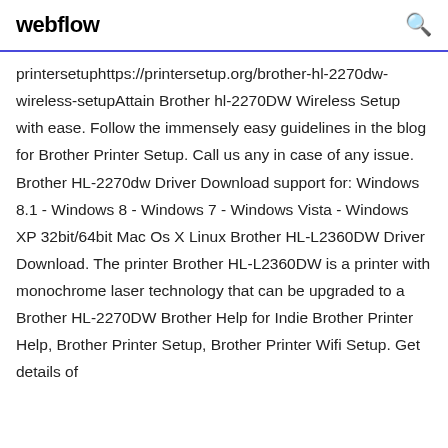webflow
printersetuphttps://printersetup.org/brother-hl-2270dw-wireless-setupAttain Brother hl-2270DW Wireless Setup with ease. Follow the immensely easy guidelines in the blog for Brother Printer Setup. Call us any in case of any issue. Brother HL-2270dw Driver Download support for: Windows 8.1 - Windows 8 - Windows 7 - Windows Vista - Windows XP 32bit/64bit Mac Os X Linux Brother HL-L2360DW Driver Download. The printer Brother HL-L2360DW is a printer with monochrome laser technology that can be upgraded to a Brother HL-2270DW Brother Help for Indie Brother Printer Help, Brother Printer Setup, Brother Printer Wifi Setup. Get details of